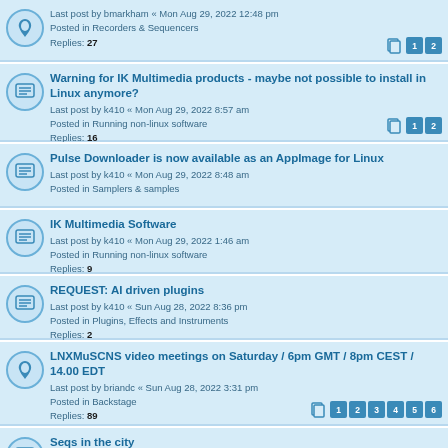Last post by bmarkham « Mon Aug 29, 2022 12:48 pm
Posted in Recorders & Sequencers
Replies: 27
Warning for IK Multimedia products - maybe not possible to install in Linux anymore?
Last post by k410 « Mon Aug 29, 2022 8:57 am
Posted in Running non-linux software
Replies: 16
Pulse Downloader is now available as an AppImage for Linux
Last post by k410 « Mon Aug 29, 2022 8:48 am
Posted in Samplers & samples
IK Multimedia Software
Last post by k410 « Mon Aug 29, 2022 1:46 am
Posted in Running non-linux software
Replies: 9
REQUEST: AI driven plugins
Last post by k410 « Sun Aug 28, 2022 8:36 pm
Posted in Plugins, Effects and Instruments
Replies: 2
LNXMuSCNS video meetings on Saturday / 6pm GMT / 8pm CEST / 14.00 EDT
Last post by briandc « Sun Aug 28, 2022 3:31 pm
Posted in Backstage
Replies: 89
Seqs in the city
Last post by jeanette_c « Sun Aug 28, 2022 1:24 pm